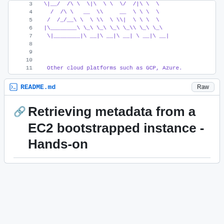[Figure (screenshot): Code block showing lines 3-11 of a file with ASCII art logo in purple/blue monospace font. Line 11 contains a comment: 'Other cloud platforms such as GCP, Azure.']
README.md
🔗 Retrieving metadata from a EC2 bootstrapped instance - Hands-on